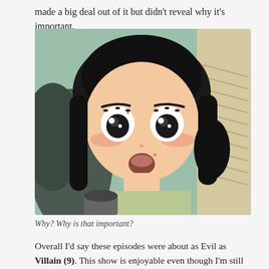made a big deal out of it but didn't reveal why it's important.
[Figure (illustration): Anime-style illustration of a wide-eyed girl with short black hair, blushing cheeks, and open mouth in a surprised expression, holding a dark cup, with a colorful background.]
Why? Why is that important?
Overall I'd say these episodes were about as Evil as Villain (9). This show is enjoyable even though I'm still trying to figure out if I like it or not. If you want something with more action give CVoyage's reviews for Toji no Miko a try. It appears to still be going strong.